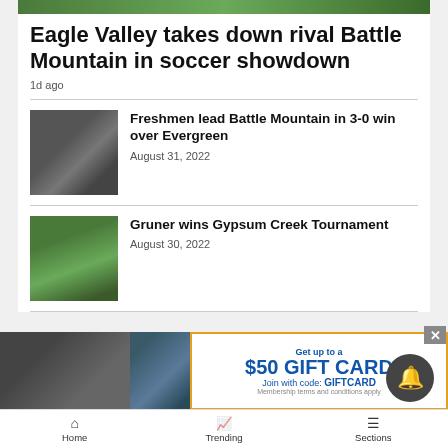[Figure (photo): Green grass/sports field hero image strip at top]
Eagle Valley takes down rival Battle Mountain in soccer showdown
1d ago
[Figure (photo): Soccer player in black jersey raising arm on field]
Freshmen lead Battle Mountain in 3-0 win over Evergreen
August 31, 2022
[Figure (photo): Golfer swinging club on green course]
Gruner wins Gypsum Creek Tournament
August 30, 2022
[Figure (infographic): Advertisement banner: Get up to a $50 GIFT CARD Join with code: GIFTCARD — Membership terms and conditions apply]
Home   Trending   Sections